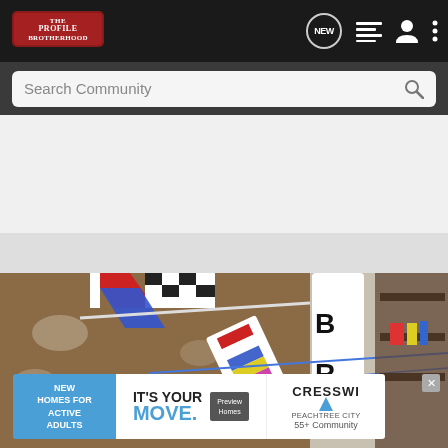The Profile Brotherhood — navigation bar with logo, NEW chat icon, list icon, profile icon, menu icon
Search Community
[Figure (screenshot): White/light gray content placeholder area below search bar]
[Figure (photo): Photo of model kites or flags hanging with blue string, with text BRO visible on white board, indoor setting]
[Figure (infographic): Advertisement banner: NEW HOMES FOR ACTIVE ADULTS | IT'S YOUR MOVE. Preview Homes | CRESSWI[ck] PEACHTREE CITY 55+ Community]